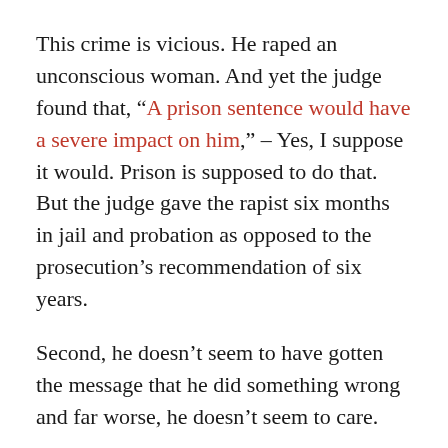This crime is vicious. He raped an unconscious woman. And yet the judge found that, “A prison sentence would have a severe impact on him,” – Yes, I suppose it would. Prison is supposed to do that.  But the judge gave the rapist six months in jail and probation as opposed to the prosecution’s recommendation of six years.
Second, he doesn’t seem to have gotten the message that he did something wrong and far worse, he doesn’t seem to care.
In her 12-page victim impact statement, that has spread on social media, the woman noted that Turner has only admitted to being drunk that night,